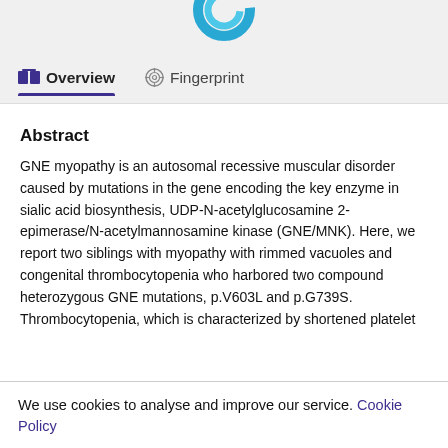[Figure (logo): Partial circular logo in teal/blue at the top center of the page]
Overview   Fingerprint
Abstract
GNE myopathy is an autosomal recessive muscular disorder caused by mutations in the gene encoding the key enzyme in sialic acid biosynthesis, UDP-N-acetylglucosamine 2-epimerase/N-acetylmannosamine kinase (GNE/MNK). Here, we report two siblings with myopathy with rimmed vacuoles and congenital thrombocytopenia who harbored two compound heterozygous GNE mutations, p.V603L and p.G739S. Thrombocytopenia, which is characterized by shortened platelet
We use cookies to analyse and improve our service. Cookie Policy